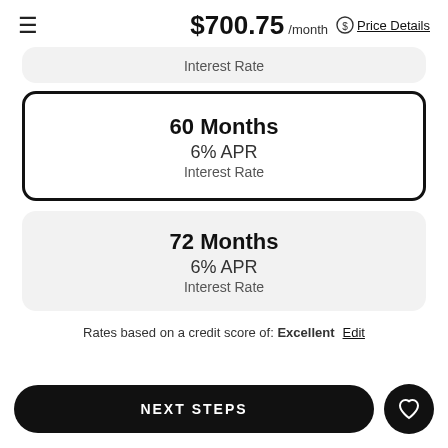$700.75 /month  Price Details
Interest Rate
60 Months
6% APR
Interest Rate
72 Months
6% APR
Interest Rate
Rates based on a credit score of: Excellent  Edit
NEXT STEPS